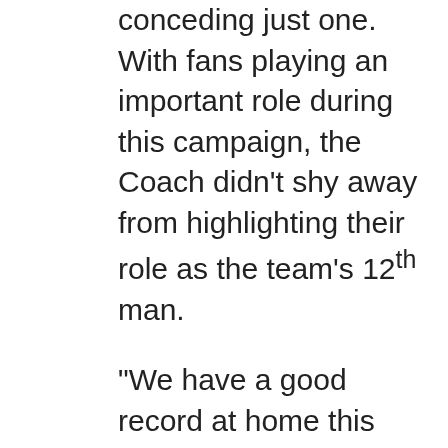conceding just one. With fans playing an important role during this campaign, the Coach didn't shy away from highlighting their role as the team's 12th man.
“We have a good record at home this season, and it gives us a boost ahead of the game. The fans have been great so far, and I know that the atmosphere they'll create will give our players that extra motivation during the game. They have always been there behind us and we want to give them another reason to cheer,” said Roca as he urged fans to